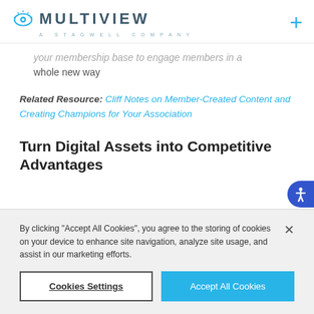MULTIVIEW — A STAGWELL COMPANY
your membership base to engage members in a whole new way
Related Resource: Cliff Notes on Member-Created Content and Creating Champions for Your Association
Turn Digital Assets into Competitive Advantages
By clicking "Accept All Cookies", you agree to the storing of cookies on your device to enhance site navigation, analyze site usage, and assist in our marketing efforts.